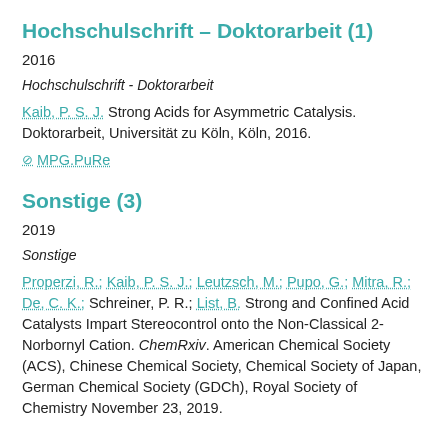Hochschulschrift – Doktorarbeit (1)
2016
Hochschulschrift - Doktorarbeit
Kaib, P. S. J. Strong Acids for Asymmetric Catalysis. Doktorarbeit, Universität zu Köln, Köln, 2016.
⊘ MPG.PuRe
Sonstige (3)
2019
Sonstige
Properzi, R.; Kaib, P. S. J.; Leutzsch, M.; Pupo, G.; Mitra, R.; De, C. K.; Schreiner, P. R.; List, B. Strong and Confined Acid Catalysts Impart Stereocontrol onto the Non-Classical 2-Norbornyl Cation. ChemRxiv. American Chemical Society (ACS), Chinese Chemical Society, Chemical Society of Japan, German Chemical Society (GDCh), Royal Society of Chemistry November 23, 2019.